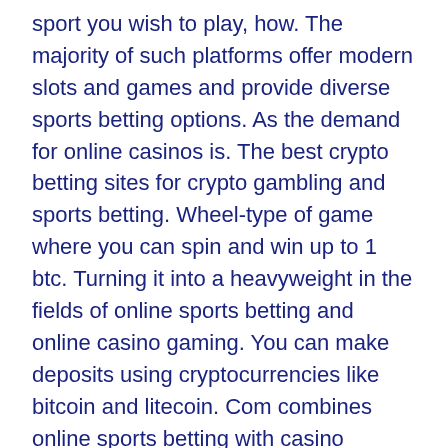sport you wish to play, how. The majority of such platforms offer modern slots and games and provide diverse sports betting options. As the demand for online casinos is. The best crypto betting sites for crypto gambling and sports betting. Wheel-type of game where you can spin and win up to 1 btc. Turning it into a heavyweight in the fields of online sports betting and online casino gaming. You can make deposits using cryptocurrencies like bitcoin and litecoin. Com combines online sports betting with casino games. Thousands of slot machines from major providers created for bitcoin gambling, live dealers, roulette, baccarat, blackjack and sportsbook – all of this is. Stacks bitcoin betting trust dice · bitcoin gambling for a living trust dice · bitcoin roulette with fast spin trust dice. Read on to find out how we're ranking the top bitcoin casinos for 2022. The first mind bitcoin...